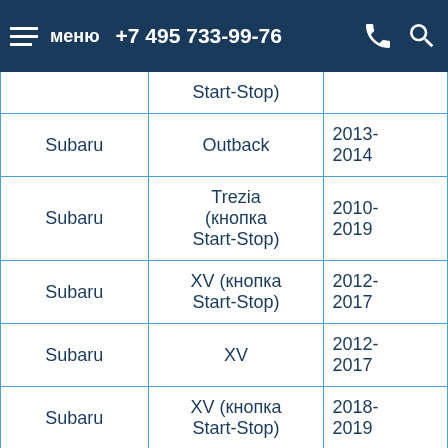меню  +7 495 733-99-76
| Марка | Модель | Год |
| --- | --- | --- |
|  | Start-Stop) |  |
| Subaru | Outback | 2013-2014 |
| Subaru | Trezia (кнопка Start-Stop) | 2010-2019 |
| Subaru | XV (кнопка Start-Stop) | 2012-2017 |
| Subaru | XV | 2012-2017 |
| Subaru | XV (кнопка Start-Stop) | 2018-2019 |
| Subaru | XV | 2018-2019 |